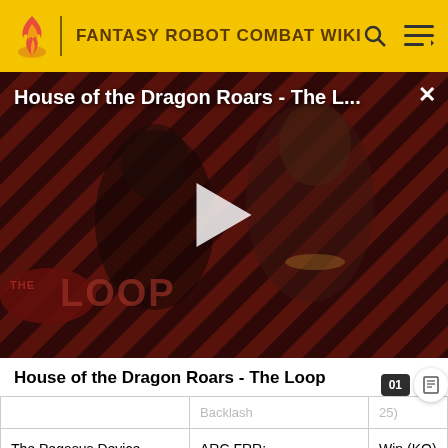FANTASY ROBOT COMBAT WIKI
[Figure (screenshot): Video thumbnail for 'House of the Dragon Roars - The L...' showing two characters in medieval fantasy costumes against a diagonal striped red and black background, with The Loop branding and a play button overlay.]
House of the Dragon Roars - The Loop
|  | Backlash | 25) |
| The Pegasus Device | ARC FRR: Backlash | Win (KO) |
| Action Ent... | ARC FRR... | Loss (FR, 01... |